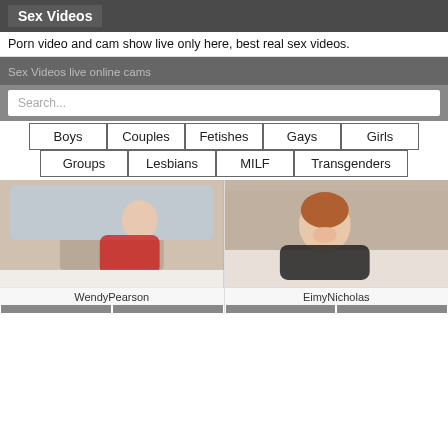Sex Videos
Porn video and cam show live only here, best real sex videos.
Sex Videos live online cams
Search...
Boys
Couples
Fetishes
Gays
Girls
Groups
Lesbians
MILF
Transgenders
[Figure (photo): Woman in red lingerie posing on bed]
WendyPearson
[Figure (photo): Smiling woman in black outfit lying on bed]
EimyNicholas